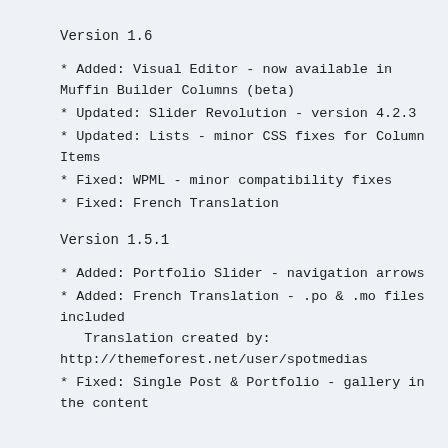Version 1.6
* Added: Visual Editor - now available in Muffin Builder Columns (beta)
* Updated: Slider Revolution - version 4.2.3
* Updated: Lists - minor CSS fixes for Column Items
* Fixed: WPML - minor compatibility fixes
* Fixed: French Translation
Version 1.5.1
* Added: Portfolio Slider - navigation arrows
* Added: French Translation - .po & .mo files included
   Translation created by:
http://themeforest.net/user/spotmedias
* Fixed: Single Post & Portfolio - gallery in the content